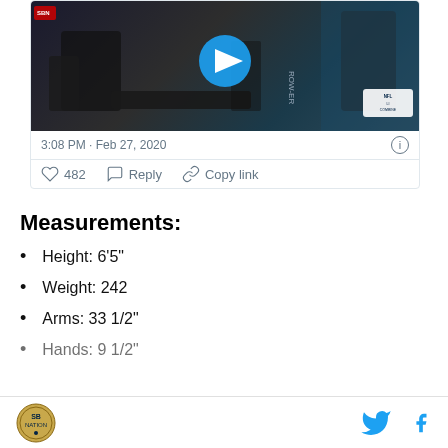[Figure (screenshot): NFL Combine video screenshot showing people in a gym/training facility, with a blue play button overlay]
3:08 PM · Feb 27, 2020
♡ 482   Reply   Copy link
Measurements:
Height: 6'5"
Weight: 242
Arms: 33 1/2"
Hands: 9 1/2"
SB Nation logo, Twitter icon, Facebook icon